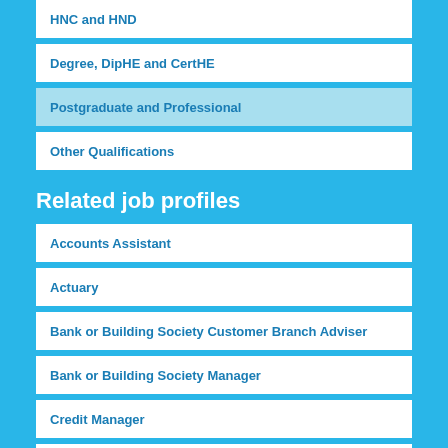HNC and HND
Degree, DipHE and CertHE
Postgraduate and Professional
Other Qualifications
Related job profiles
Accounts Assistant
Actuary
Bank or Building Society Customer Branch Adviser
Bank or Building Society Manager
Credit Manager
Financial Adviser
Insurance Account Manager
Insurance Broker